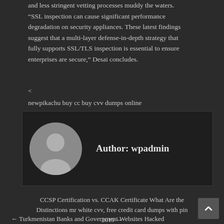and less stringent vetting processes muddy the waters. “SSL inspection can cause significant performance degradation on security appliances. These latest findings suggest that a multi-layer defense-in-depth strategy that fully supports SSL/TLS inspection is essential to ensure enterprises are secure,” Desai concludes.
<
newpikachu buy cc buy cvv dumps online
Author: wpadmin
CCSP Certification vs. CCAK Certificate What Are the Distinctions mr white cvv, free credit card dumps with pin 2019 →
← Turkmenistan Banks and Government Websites Hacked by Dr.SHAGH.brocuru. xmadesio